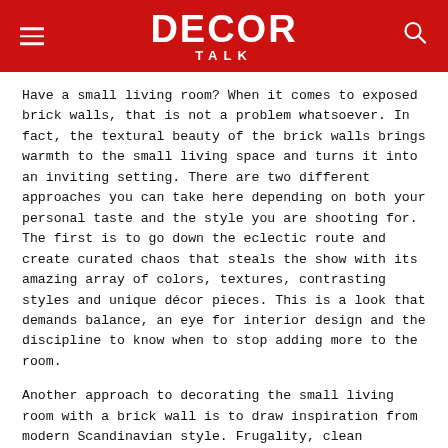DECOR TALK
Have a small living room? When it comes to exposed brick walls, that is not a problem whatsoever. In fact, the textural beauty of the brick walls brings warmth to the small living space and turns it into an inviting setting. There are two different approaches you can take here depending on both your personal taste and the style you are shooting for. The first is to go down the eclectic route and create curated chaos that steals the show with its amazing array of colors, textures, contrasting styles and unique décor pieces. This is a look that demands balance, an eye for interior design and the discipline to know when to stop adding more to the room.
Another approach to decorating the small living room with a brick wall is to draw inspiration from modern Scandinavian style. Frugality, clean straight lines and neutral hues are the norm here, and this approach lets the accent brick wall make a bold visual statement. Remember that in small rooms you need ONE clear and distinct decorating style whether it is vintage, modern, industrial or shabby chic.